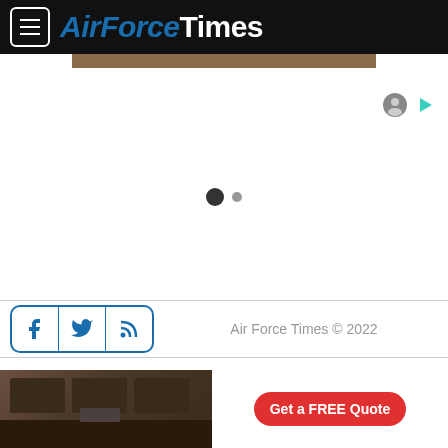AirForceTimes
[Figure (screenshot): Loading/carousel placeholder area with two dot indicators (one large dark, one small grey)]
[Figure (infographic): Ad icons - grey person icon and teal play triangle icon]
Air Force Times © 2022
Terms of Use
Get Us
[Figure (photo): Kitchen interior advertisement photo with red 'Get a FREE Quote' button]